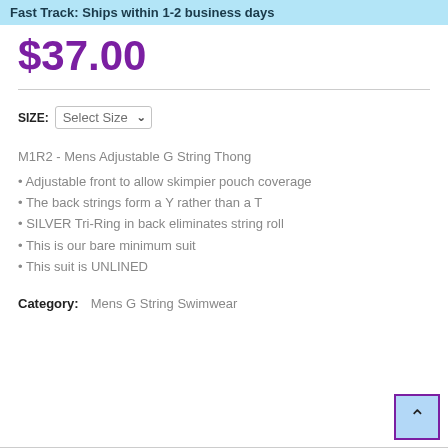Fast Track: Ships within 1-2 business days
$37.00
SIZE: Select Size
M1R2 - Mens Adjustable G String Thong
Adjustable front to allow skimpier pouch coverage
The back strings form a Y rather than a T
SILVER Tri-Ring in back eliminates string roll
This is our bare minimum suit
This suit is UNLINED
Category:   Mens G String Swimwear